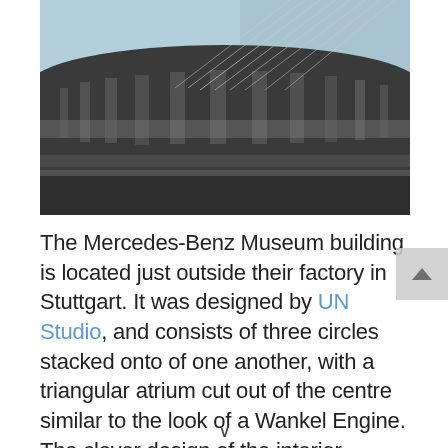[Figure (photo): Black and white photograph of the Mercedes-Benz Museum exterior showing curved architectural forms with cable stays against a light blue sky]
The Mercedes-Benz Museum building is located just outside their factory in Stuttgart. It was designed by UN Studio, and consists of three circles stacked onto of one another, with a triangular atrium cut out of the centre similar to the look of a Wankel Engine. The clever design of the interior creates 16,500 square metres of